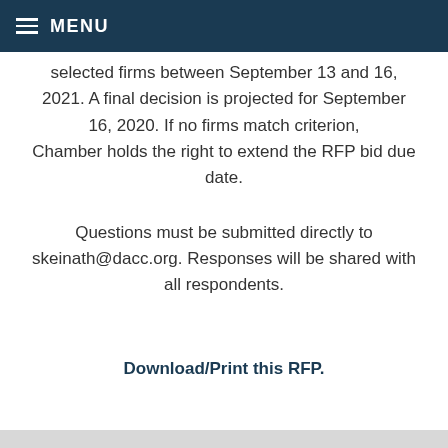MENU
selected firms between September 13 and 16, 2021. A final decision is projected for September 16, 2020. If no firms match criterion, Chamber holds the right to extend the RFP bid due date.
Questions must be submitted directly to skeinath@dacc.org. Responses will be shared with all respondents.
Download/Print this RFP.